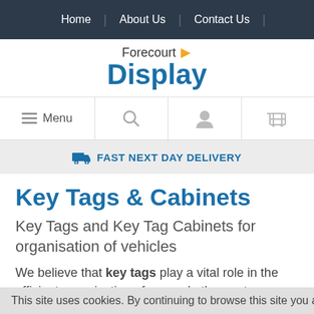Home | About Us | Contact Us
[Figure (logo): Forecourt Display logo with yellow arrow and blue Display text]
[Figure (infographic): Menu bar with hamburger menu, search icon, user icon, and cart icon]
FAST NEXT DAY DELIVERY
Key Tags & Cabinets
Key Tags and Key Tag Cabinets for organisation of vehicles
We believe that key tags play a vital role in the efficient organisation of car and other motor vehicle stock within
This site uses cookies. By continuing to browse this site you ar